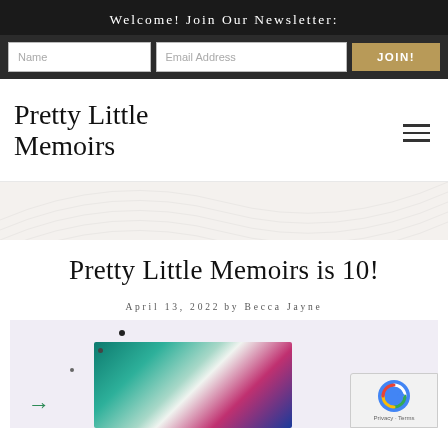Welcome! Join Our Newsletter:
Name | Email Address | JOIN!
[Figure (logo): Pretty Little Memoirs site logo in serif font with hamburger menu icon]
Pretty Little Memoirs is 10!
April 13, 2022 by Becca Jayne
[Figure (photo): Blog post featured image with colorful abstract teal, pink and blue gradient design, partially visible on a light lavender background with decorative dots and a green arrow button]